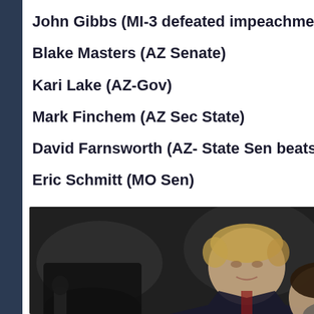John Gibbs (MI-3 defeated impeachment
Blake Masters (AZ Senate)
Kari Lake (AZ-Gov)
Mark Finchem (AZ Sec State)
David Farnsworth (AZ- State Sen beats
Eric Schmitt (MO Sen)
[Figure (photo): Photo of two people, one appearing to be a man with blonde/light hair and a woman with dark hair, shot at an event or rally, blurred background]